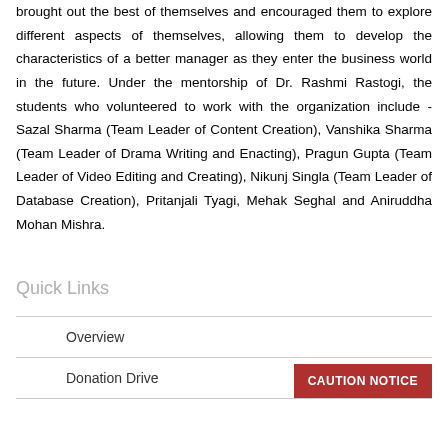brought out the best of themselves and encouraged them to explore different aspects of themselves, allowing them to develop the characteristics of a better manager as they enter the business world in the future. Under the mentorship of Dr. Rashmi Rastogi, the students who volunteered to work with the organization include - Sazal Sharma (Team Leader of Content Creation), Vanshika Sharma (Team Leader of Drama Writing and Enacting), Pragun Gupta (Team Leader of Video Editing and Creating), Nikunj Singla (Team Leader of Database Creation), Pritanjali Tyagi, Mehak Seghal and Aniruddha Mohan Mishra.
Quick Links
Overview
Donation Drive
CAUTION NOTICE